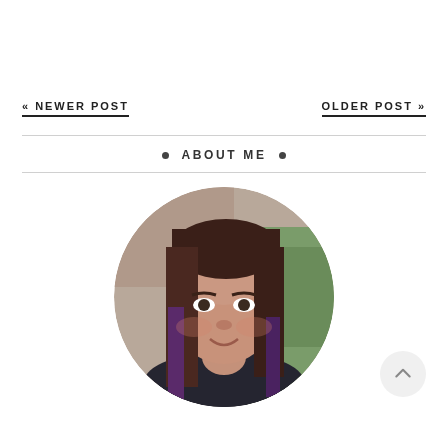« NEWER POST
OLDER POST »
• ABOUT ME •
[Figure (photo): Circular portrait photo of a young woman with long dark reddish-brown hair with purple highlights, smiling, wearing a dark top, with a blurred outdoor background.]